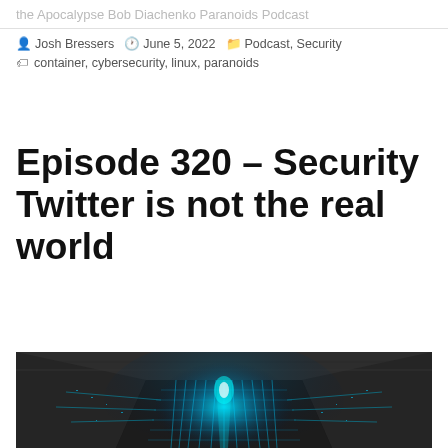the Apocalypse Bob Diachenko Paranoids Podcast
By Josh Bressers  June 5, 2022  Podcast, Security  container, cybersecurity, linux, paranoids
Episode 320 – Security Twitter is not the real world
[Figure (photo): Dark concrete corridor with glowing cyan digital data visualization in the center, creating a futuristic cyberpunk aesthetic with blue neon lights and binary-like patterns.]